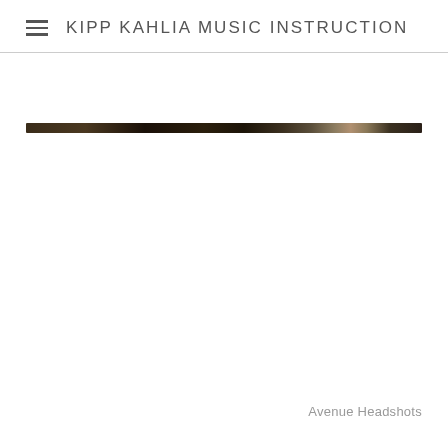KIPP KAHLIA MUSIC INSTRUCTION
[Figure (photo): A narrow horizontal strip showing what appears to be a close-up of a dark metallic instrument (likely a flute or similar), appearing as a thin dark bar with a slight highlight/reflection in the middle-right area.]
Avenue Headshots